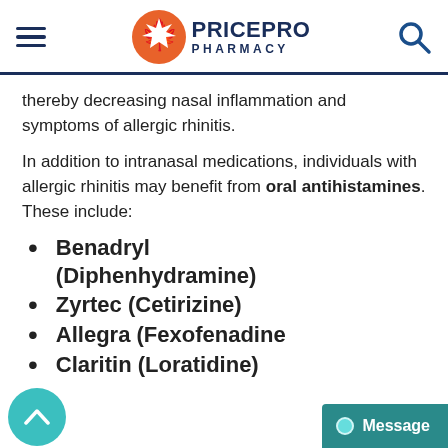[Figure (logo): PricePro Pharmacy logo with orange maple leaf circle and dark blue text]
thereby decreasing nasal inflammation and symptoms of allergic rhinitis.
In addition to intranasal medications, individuals with allergic rhinitis may benefit from oral antihistamines.  These include:
Benadryl (Diphenhydramine)
Zyrtec (Cetirizine)
Allegra (Fexofenadine)
Claritin (Loratidine)